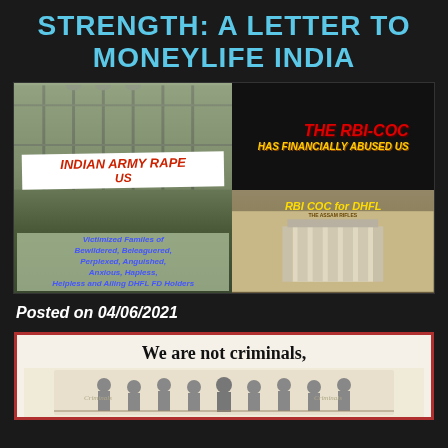STRENGTH: A LETTER TO MONEYLIFE INDIA
[Figure (photo): Composite image showing two protest scenes. Left panel: women protesters holding a banner reading 'INDIAN ARMY RAPE US' with caption 'Victimized Familes of Bewildered, Beleaguered, Perplexed, Anguished, Anxious, Hapless, Helpless and Ailing DHFL FD Holders'. Right top panel: dark background with red text 'THE RBI-COC' and yellow text 'HAS FINANCIALLY ABUSED US'. Right bottom panel: Shows 'RBI COC for DHFL' text over an image of The Assam Rifles building.]
Posted on 04/06/2021
[Figure (photo): Bottom image with red border and cream background showing text 'We are not criminals,' with a historical illustration of people below.]